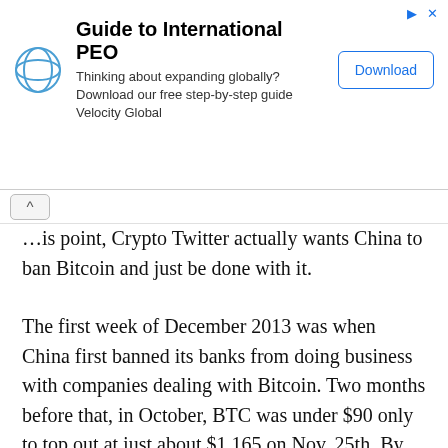[Figure (other): Advertisement banner for 'Guide to International PEO' by Velocity Global, with logo, text, and Download button]
…is point, Crypto Twitter actually wants China to ban Bitcoin and just be done with it.
The first week of December 2013 was when China first banned its banks from doing business with companies dealing with Bitcoin. Two months before that, in October, BTC was under $90 only to top out at just about $1,165 on Nov. 25th. By mid-Dec. the price was back at $385.
Early in the week, China first hit the market when three self-regulating bodies reiterated the country's stance on crypto from 2017 that the banks and payment companies can't do business with those involved in